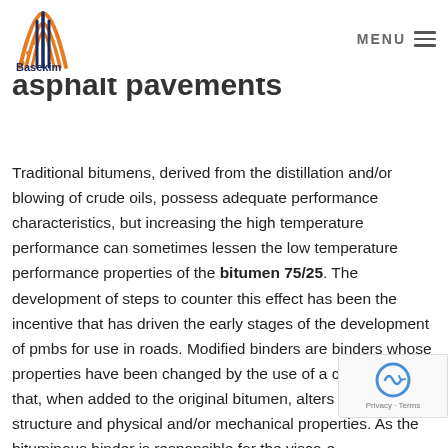Basekim | MENU
asphalt pavements
Traditional bitumens, derived from the distillation and/or blowing of crude oils, possess adequate performance characteristics, but increasing the high temperature performance can sometimes lessen the low temperature performance properties of the bitumen 75/25. The development of steps to counter this effect has been the incentive that has driven the early stages of the development of pmbs for use in roads. Modified binders are binders whose properties have been changed by the use of a chemical agent that, when added to the original bitumen, alters its chemical structure and physical and/or mechanical properties. As the bituminous binder is responsible for the visco-elastic behaviour of asphalts, it plays a large part in determining many aspects of road performance, particularly